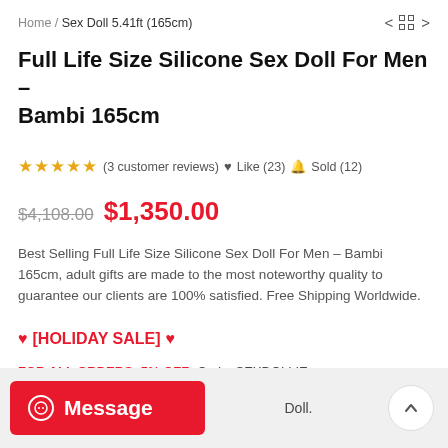Home / Sex Doll 5.41ft (165cm)
Full Life Size Silicone Sex Doll For Men – Bambi 165cm
★★★★★ (3 customer reviews) ♥Like (23) 🔔Sold (12)
$4,108.00 $1,350.00
Best Selling Full Life Size Silicone Sex Doll For Men – Bambi 165cm, adult gifts are made to the most noteworthy quality to guarantee our clients are 100% satisfied. Free Shipping Worldwide.
♥ [HOLIDAY SALE] ♥
FOR ALL ORDERS: 5% OFF   Code: SEXDOLLIE
Message  Doll.